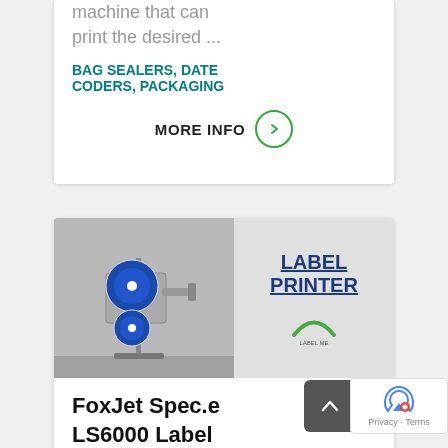machine that can print the desired ...
BAG SEALERS, DATE CODERS, PACKAGING
MORE INFO
[Figure (photo): Label printer machine photo on left, gray panel with 'LABEL PRINTER' text and logo on right]
FoxJet Spec.e LS6000 Label Printer
Labels up to 110 products per hour.